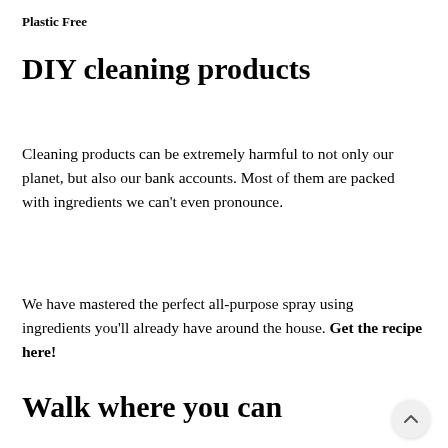Plastic Free
DIY cleaning products
Cleaning products can be extremely harmful to not only our planet, but also our bank accounts. Most of them are packed with ingredients we can't even pronounce.
We have mastered the perfect all-purpose spray using ingredients you'll already have around the house. Get the recipe here!
Walk where you can